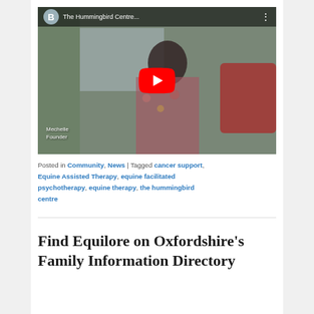[Figure (screenshot): YouTube video thumbnail showing a woman seated indoors with a YouTube play button overlay. Video title bar reads 'The Hummingbird Centre...' with a B avatar icon. Watermark text shows 'Mechelle' and 'Founder'.]
Posted in Community, News | Tagged cancer support, Equine Assisted Therapy, equine facilitated psychotherapy, equine therapy, the hummingbird centre
Find Equilore on Oxfordshire's Family Information Directory